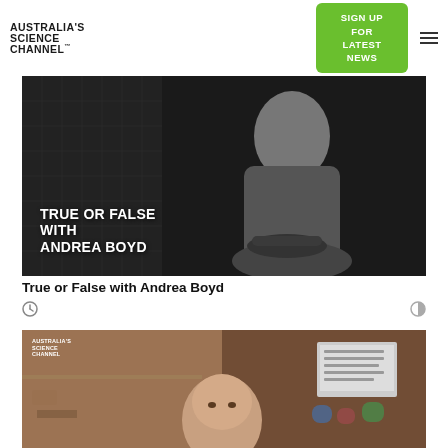AUSTRALIA'S SCIENCE CHANNEL™
[Figure (screenshot): Black and white thumbnail image with text overlay reading TRUE OR FALSE WITH ANDREA BOYD, showing a woman seated with a solar panel visible in background]
True or False with Andrea Boyd
[Figure (photo): Color thumbnail showing a bald man at what appears to be the International Space Station with a laptop visible, logo of Australia's Science Channel in top-left corner]